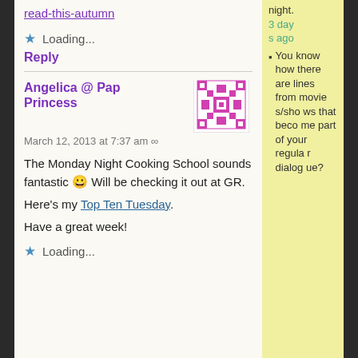read-this-autumn
Loading...
Reply
Angelica @ Pap... Princess
March 12, 2013 at 7:37 am ∞
The Monday Night Cooking School sounds fantastic 😀 Will be checking it out at GR.
Here's my Top Ten Tuesday.
Have a great week!
Loading...
night. 3 days ago
You know how there are lines from movies/shows that become part of your regular dialog...